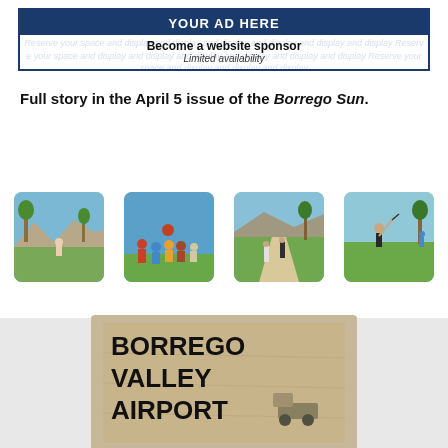[Figure (other): Advertisement banner: dark blue header saying YOUR AD HERE, white area below with sponsor text and background watermark text]
Full story in the April 5 issue of the Borrego Sun.
[Figure (photo): Four golf course photos showing children and adults playing golf on a green course with mountains in background]
[Figure (other): Borrego Valley Airport advertisement on sandy/dirt background with text BORREGO VALLEY AIRPORT in bold black letters]